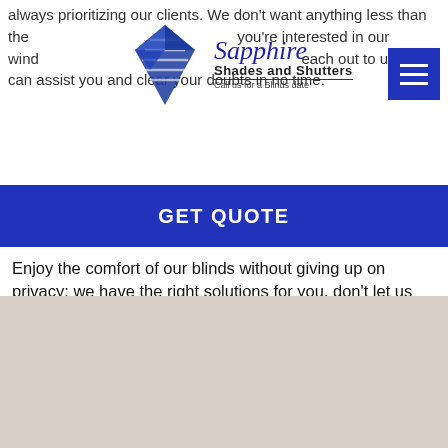[Figure (logo): Sapphire Shades and Shutters logo with a blue diamond geometric icon and script text]
always prioritizing our clients. We don't want anything less than the best for you. If you're interested in our window treatments, reach out to us, we can assist you and clear your doubts in no time.
GET QUOTE
Enjoy the comfort of our blinds without giving up on privacy; we have the right solutions for you, don't let us pass by!
QUOTE WITH US
[Figure (photo): Beige/taupe colored section at the bottom of the page, likely showing window treatment fabric or a room scene]